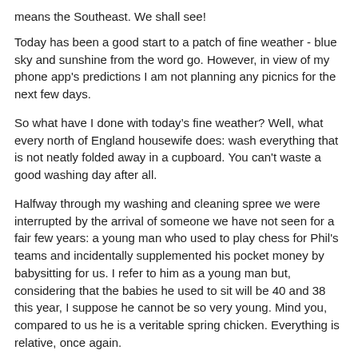means the Southeast. We shall see!
Today has been a good start to a patch of fine weather - blue sky and sunshine from the word go. However, in view of my phone app's predictions I am not planning any picnics for the next few days.
So what have I done with today's fine weather? Well, what every north of England housewife does: wash everything that is not neatly folded away in a cupboard. You can't waste a good washing day after all.
Halfway through my washing and cleaning spree we were interrupted by the arrival of someone we have not seen for a fair few years: a young man who used to play chess for Phil's teams and incidentally supplemented his pocket money by babysitting for us. I refer to him as a young man but, considering that the babies he used to sit will be 40 and 38 this year, I suppose he cannot be so very young. Mind you, compared to us he is a veritable spring chicken. Everything is relative, once again.